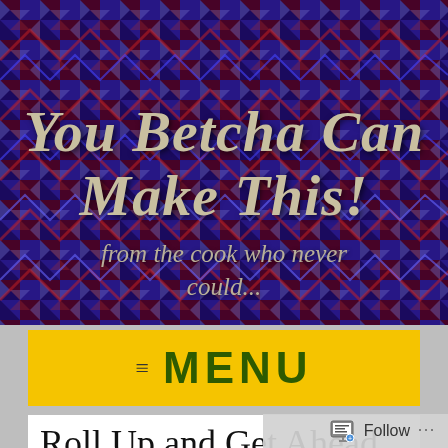[Figure (illustration): Dark blue and red houndstooth/fractal patterned background with blog title text overlay]
You Betcha Can Make This!
from the cook who never could...
MENU
Roll Up and Get Ahead
Follow